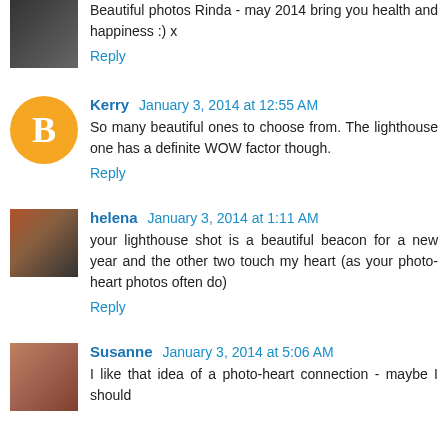Beautiful photos Rinda - may 2014 bring you health and happiness :) x
Reply
Kerry  January 3, 2014 at 12:55 AM
So many beautiful ones to choose from. The lighthouse one has a definite WOW factor though.
Reply
helena  January 3, 2014 at 1:11 AM
your lighthouse shot is a beautiful beacon for a new year and the other two touch my heart (as your photo-heart photos often do)
Reply
Susanne  January 3, 2014 at 5:06 AM
I like that idea of a photo-heart connection - maybe I should